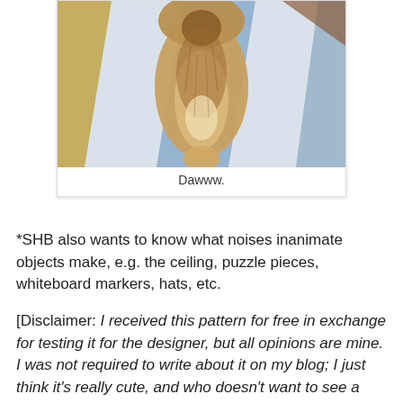[Figure (photo): Top-down photo of a fluffy cat sitting on a patchwork quilt/rug with blue, white, and gold stripes. The cat's back and tail are visible from above.]
Dawww.
*SHB also wants to know what noises inanimate objects make, e.g. the ceiling, puzzle pieces, whiteboard markers, hats, etc.
[Disclaimer: I received this pattern for free in exchange for testing it for the designer, but all opinions are mine. I was not required to write about it on my blog; I just think it's really cute, and who doesn't want to see a picture of a cat in a hat?]